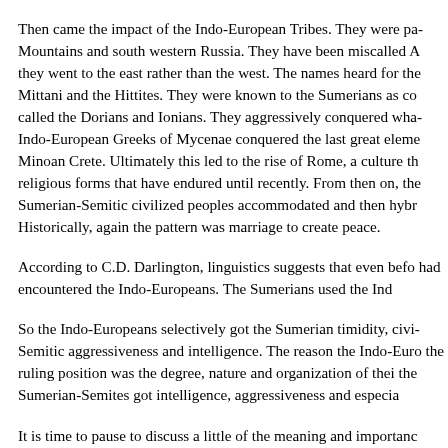Then came the impact of the Indo-European Tribes. They were pa Mountains and south western Russia. They have been miscalled A they went to the east rather than the west. The names heard for the Mittani and the Hittites. They were known to the Sumerians as co called the Dorians and Ionians. They aggressively conquered wha Indo-European Greeks of Mycenae conquered the last great eleme Minoan Crete. Ultimately this led to the rise of Rome, a culture th religious forms that have endured until recently. From then on, the Sumerian-Semitic civilized peoples accommodated and then hybr Historically, again the pattern was marriage to create peace.
According to C.D. Darlington, linguistics suggests that even befo had encountered the Indo-Europeans. The Sumerians used the Ind
So the Indo-Europeans selectively got the Sumerian timidity, civi Semitic aggressiveness and intelligence. The reason the Indo-Euro the ruling position was the degree, nature and organization of thei the Sumerian-Semites got intelligence, aggressiveness and especia
It is time to pause to discuss a little of the meaning and importanc taken to mean simply violence or threat of violence, yet it has ma "active". It can be associated with the basis of personal survival, c protectiveness and many other important human attributes. Aggre active state works better than a passive state. This is the importanc